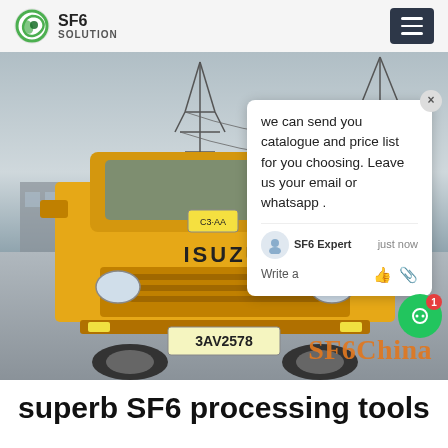SF6 SOLUTION
[Figure (photo): Yellow ISUZU truck (license plate 3AV2578) photographed front-on, parked in a lot with electrical transmission towers visible in the background. A chat popup overlay is visible on the right side of the image, and an 'SF6China' watermark appears in orange at the bottom right. The chat reads: 'we can send you catalogue and price list for you choosing. Leave us your email or whatsapp.' Agent label: SF6 Expert, just now.]
superb SF6 processing tools